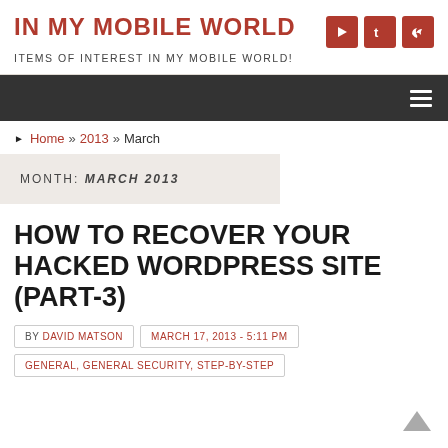IN MY MOBILE WORLD
ITEMS OF INTEREST IN MY MOBILE WORLD!
Navigation bar with hamburger menu
Home » 2013 » March
MONTH: MARCH 2013
HOW TO RECOVER YOUR HACKED WORDPRESS SITE (PART-3)
BY DAVID MATSON | MARCH 17, 2013 - 5:11 PM
GENERAL, GENERAL SECURITY, STEP-BY-STEP